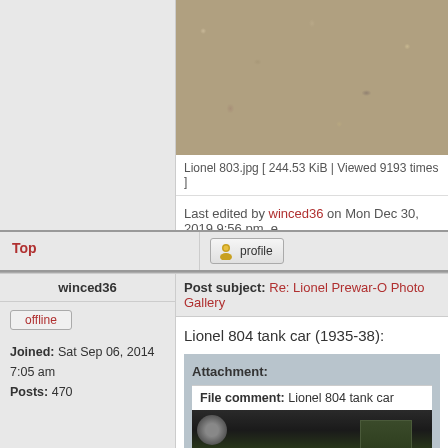[Figure (photo): Close-up photo of gravel/rocky terrain, blurry texture]
Lionel 803.jpg [ 244.53 KiB | Viewed 9193 times ]
Last edited by winced36 on Mon Dec 30, 2019 9:56 pm, e
Top
profile
winced36
Post subject: Re: Lionel Prewar-O Photo Gallery
offline
Joined: Sat Sep 06, 2014 7:05 am
Posts: 470
Lionel 804 tank car (1935-38):
Attachment:
File comment: Lionel 804 tank car
[Figure (photo): Photo of Lionel 804 tank car model train]